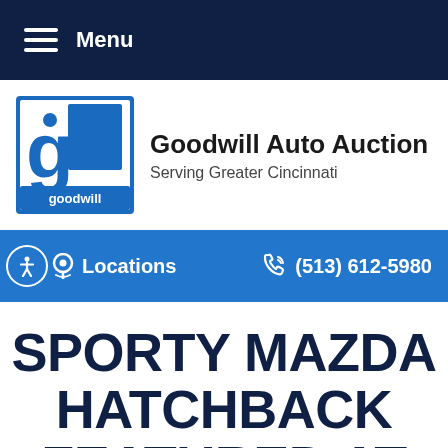Menu
[Figure (logo): Goodwill logo — stylized 'g' in blue and white square with 'goodwill' text below]
Goodwill Auto Auction
Serving Greater Cincinnati
Locations   (513) 612-5980
SPORTY MAZDA HATCHBACK FEATURED AT GOODWILL